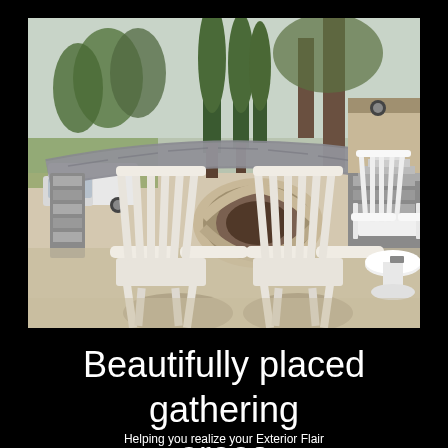[Figure (photo): Outdoor patio scene with white Adirondack chairs arranged around a circular stone fire pit. A curved stone retaining wall curves behind the seating area. Trees and a white truck are visible in the background, along with a tan house on the right. A white round side table sits to the right with another Adirondack chair.]
Beautifully placed gathering areas
Helping you realize your Exterior Flair